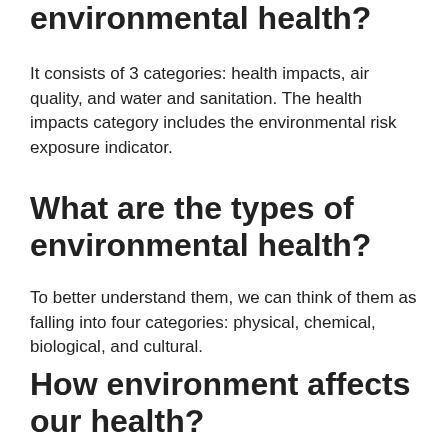environmental health?
It consists of 3 categories: health impacts, air quality, and water and sanitation. The health impacts category includes the environmental risk exposure indicator.
What are the types of environmental health?
To better understand them, we can think of them as falling into four categories: physical, chemical, biological, and cultural.
How environment affects our health?